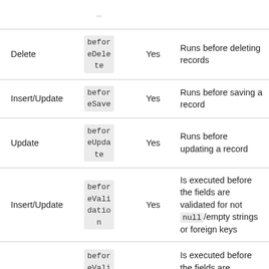|  |  |  |  |
| --- | --- | --- | --- |
| Delete | beforeDelete | Yes | Runs before deleting records |
| Insert/Update | beforeSave | Yes | Runs before saving a record |
| Update | beforeUpdate | Yes | Runs before updating a record |
| Insert/Update | beforeValidation | Yes | Is executed before the fields are validated for not null/empty strings or foreign keys |
|  | beforeVali datio n |  | Is executed before the fields are validated for not null/empty... |